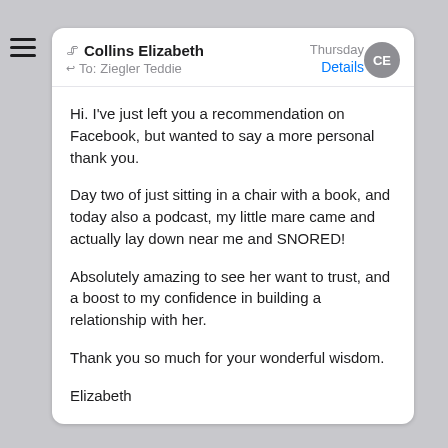[Figure (screenshot): Email message screenshot showing sender Collins Elizabeth, To: Ziegler Teddie, dated Thursday with Details link and CE avatar]
Hi. I've just left you a recommendation on Facebook, but wanted to say a more personal thank you.

Day two of just sitting in a chair with a book, and today also a podcast, my little mare came and actually lay down near me and SNORED!

Absolutely amazing to see her want to trust, and a boost to my confidence in building a relationship with her.

Thank you so much for your wonderful wisdom.

Elizabeth